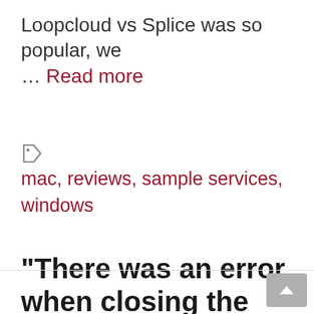Loopcloud vs Splice was so popular, we … Read more
mac, reviews, sample services, windows
“There was an error when closing the file” Ableton (Fixed)